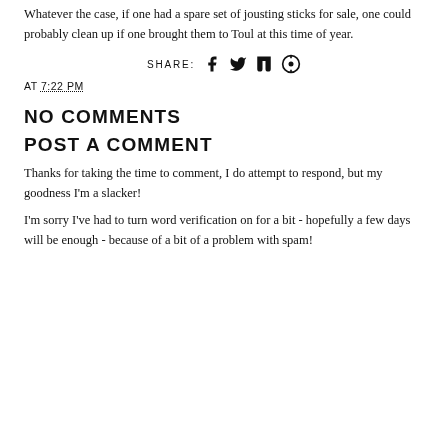Whatever the case, if one had a spare set of jousting sticks for sale, one could probably clean up if one brought them to Toul at this time of year.
SHARE: f y t @
AT 7:22 PM
NO COMMENTS
POST A COMMENT
Thanks for taking the time to comment, I do attempt to respond, but my goodness I'm a slacker!
I'm sorry I've had to turn word verification on for a bit - hopefully a few days will be enough - because of a bit of a problem with spam!